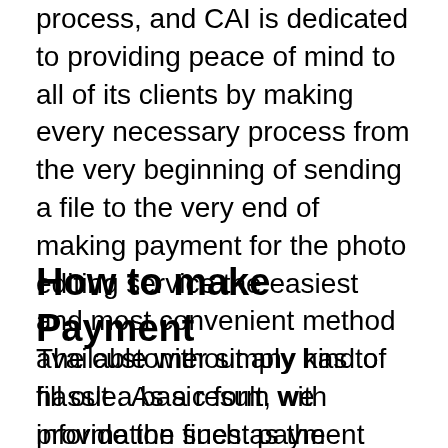process, and CAI is dedicated to providing peace of mind to all of its clients by making every necessary process from the very beginning of sending a file to the very end of making payment for the photo editing service the easiest and most convenient method available without any kind of hassle. As a result, we provide the finest payment alternatives for our clients' image processing services.
How to make Payment
The customer simply has to fill out a basic form with information such as the company name, full address, contact name, contact number, and so on. An E-Mail-Invoice with all required